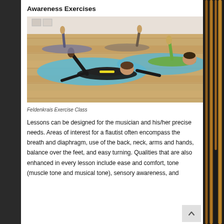Awareness Exercises
[Figure (photo): People lying on blue yoga mats on a wooden floor performing Feldenkrais exercises in a class setting, instructed by a person in black with yellow accents.]
Feldenkrais Exercise Class
Lessons can be designed for the musician and his/her precise needs. Areas of interest for a flautist often encompass the breath and diaphragm, use of the back, neck, arms and hands, balance over the feet, and easy turning. Qualities that are also enhanced in every lesson include ease and comfort, tone (muscle tone and musical tone), sensory awareness, and